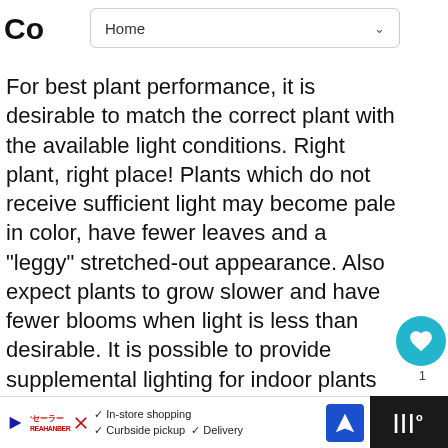Home
Co[ntinued heading — partially hidden]
For best plant performance, it is desirable to match the correct plant with the available light conditions. Right plant, right place! Plants which do not receive sufficient light may become pale in color, have fewer leaves and a "leggy" stretched-out appearance. Also expe[ct] plants to grow slower and have fewer bloom[s] when light is less than desirable. It is possib[le] to provide supplemental lighting for indoor plants with lamps. Plants can also re[ceive too] much light. If a shade loving plant is e[x]posed to direct sun, it may wilt and/or cause leaves to be[...]
[Figure (screenshot): UI overlay showing a teal heart/like button with count of 1, and a share button]
[Figure (screenshot): What's Next thumbnail showing Abutilon megapotamic... with a red/green flower image]
[Figure (screenshot): Bottom advertisement bar showing In-store shopping, Curbside pickup, Delivery options with navigation icon, and a dark right panel]